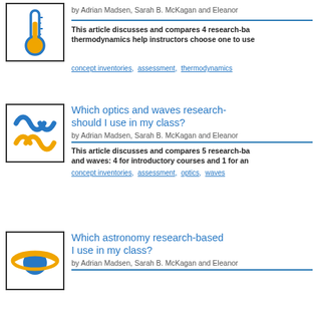[Figure (illustration): Thermometer icon with blue outline and orange bulb]
by Adrian Madsen, Sarah B. McKagan and Eleanor
This article discusses and compares 4 research-ba thermodynamics help instructors choose one to use
concept inventories, assessment, thermodynamics
[Figure (illustration): Wave/optics icon with blue and orange intersecting wave curves]
Which optics and waves research- should I use in my class?
by Adrian Madsen, Sarah B. McKagan and Eleanor
This article discusses and compares 5 research-ba and waves: 4 for introductory courses and 1 for an
concept inventories, assessment, optics, waves
[Figure (illustration): Astronomy icon with blue planet and orange ring/orbit]
Which astronomy research-based I use in my class?
by Adrian Madsen, Sarah B. McKagan and Eleanor